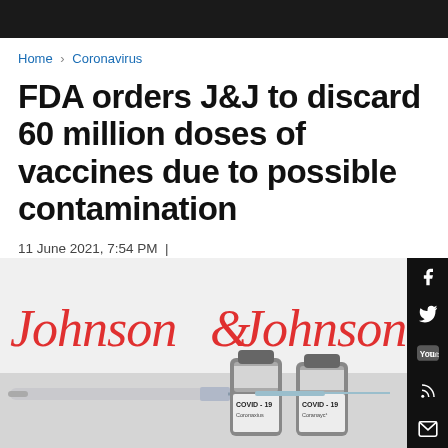Home > Coronavirus
FDA orders J&J to discard 60 million doses of vaccines due to possible contamination
11 June 2021, 7:54 PM |
Sherwin Bryce-Pease | @SABCNews
[Figure (photo): Johnson & Johnson logo with COVID-19 vaccine vials and a syringe in the foreground]